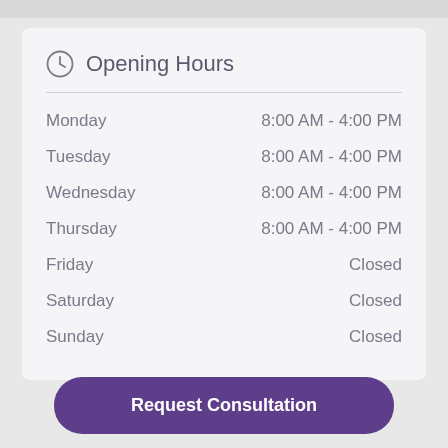Opening Hours
| Day | Hours |
| --- | --- |
| Monday | 8:00 AM - 4:00 PM |
| Tuesday | 8:00 AM - 4:00 PM |
| Wednesday | 8:00 AM - 4:00 PM |
| Thursday | 8:00 AM - 4:00 PM |
| Friday | Closed |
| Saturday | Closed |
| Sunday | Closed |
Request Consultation